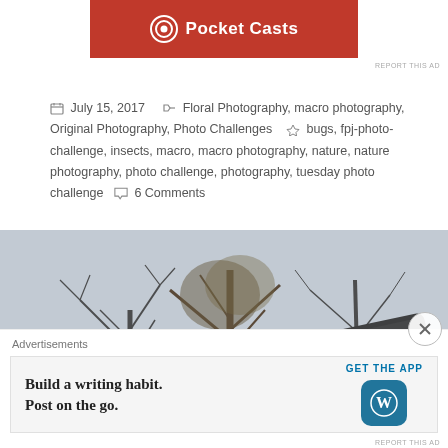[Figure (logo): Pocket Casts app advertisement banner, red background with white Pocket Casts logo and text]
REPORT THIS AD
July 15, 2017  Floral Photography, macro photography, Original Photography, Photo Challenges  bugs, fpj-photo-challenge, insects, macro, macro photography, nature, nature photography, photo challenge, photography, tuesday photo challenge  6 Comments
[Figure (photo): Outdoor cemetery photograph showing rows of dark gravestones on a hill with bare winter trees and overcast sky in the background]
Advertisements
[Figure (logo): WordPress app advertisement: Build a writing habit. Post on the go. GET THE APP with WordPress logo]